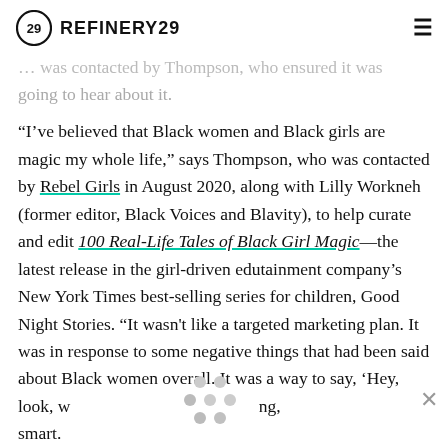REFINERY29
going to hear about it.
“I’ve believed that Black women and Black girls are magic my whole life,” says Thompson, who was contacted by Rebel Girls in August 2020, along with Lilly Workneh (former editor, Black Voices and Blavity), to help curate and edit 100 Real-Life Tales of Black Girl Magic—the latest release in the girl-driven edutainment company’s New York Times best-selling series for children, Good Night Stories. “It wasn't like a targeted marketing plan. It was in response to some negative things that had been said about Black women overall. It was a way to say, ‘Hey, look, w... ong, smart.